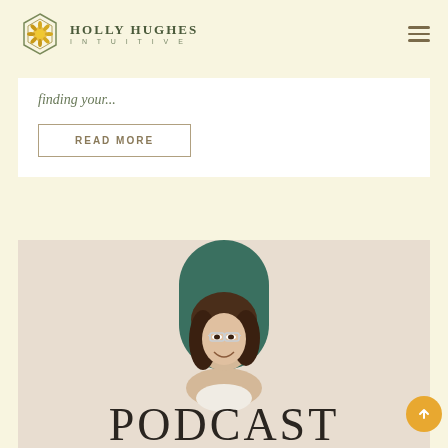Holly Hughes Intuitive
finding your...
READ MORE
[Figure (photo): Podcast promotional image showing a smiling woman with glasses and curly hair, inside a green arched frame, with the word PODCAST in large serif letters at the bottom on a beige background]